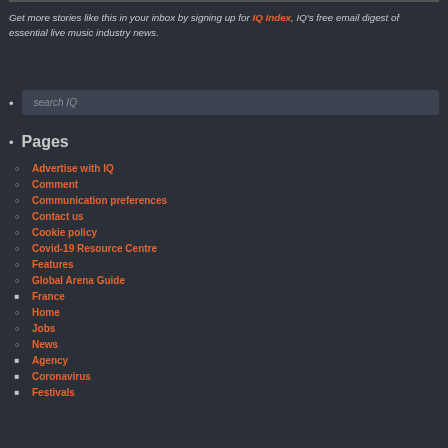Get more stories like this in your inbox by signing up for IQ Index, IQ's free email digest of essential live music industry news.
search IQ
Pages
Advertise with IQ
Comment
Communication preferences
Contact us
Cookie policy
Covid-19 Resource Centre
Features
Global Arena Guide
France
Home
Jobs
News
Agency
Coronavirus
Festivals